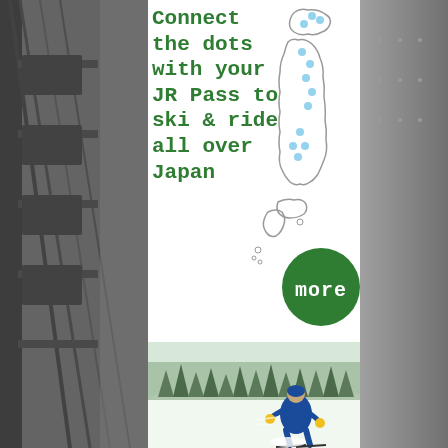[Figure (photo): Left strip: grayscale photo of ski lift or ski equipment]
Connect the dots with your JR Pass to ski & ride all over Japan
[Figure (map): Outline map of Japan with blue dots marking ski resort locations across Hokkaido, Honshu, and western regions]
[Figure (infographic): Dark green circle button with white text 'more' in monospace font]
[Figure (photo): Skier in blue jacket and yellow gloves skiing down a snow slope with trees in background]
[Figure (photo): Right strip: grayscale textured background]